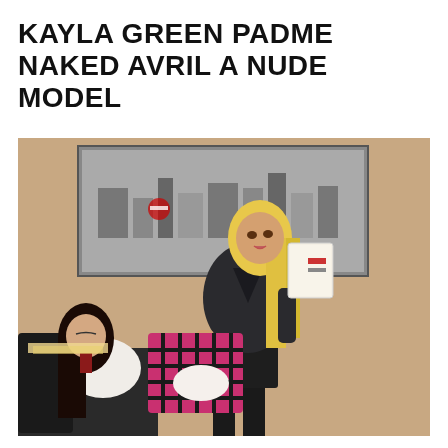KAYLA GREEN PADME NAKED AVRIL A NUDE MODEL
[Figure (photo): Two women in a school/office setting. A blonde woman in a black satin blouse and black skirt holds a book and lifts the plaid skirt of a dark-haired woman seated at a desk. A black-and-white city street photograph hangs on the wall behind them.]